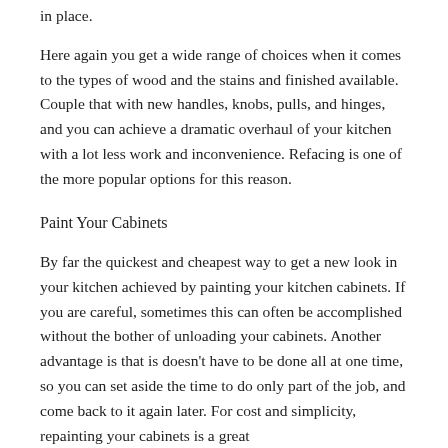in place.
Here again you get a wide range of choices when it comes to the types of wood and the stains and finished available. Couple that with new handles, knobs, pulls, and hinges, and you can achieve a dramatic overhaul of your kitchen with a lot less work and inconvenience. Refacing is one of the more popular options for this reason.
Paint Your Cabinets
By far the quickest and cheapest way to get a new look in your kitchen achieved by painting your kitchen cabinets. If you are careful, sometimes this can often be accomplished without the bother of unloading your cabinets. Another advantage is that is doesn't have to be done all at one time, so you can set aside the time to do only part of the job, and come back to it again later. For cost and simplicity, repainting your cabinets is a great